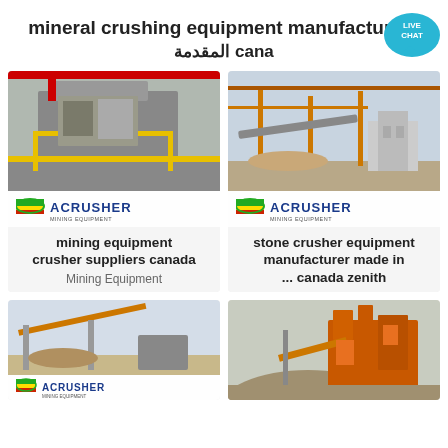mineral crushing equipment manufacturers المقدمة canada
[Figure (photo): Mining crushing machine inside industrial facility with ACRUSHER Mining Equipment logo]
[Figure (photo): Stone crusher equipment outdoor facility with cranes and machinery, ACRUSHER Mining Equipment logo]
mining equipment crusher suppliers canada
Mining Equipment
stone crusher equipment manufacturer made in ... canada zenith
[Figure (photo): Mining conveyor equipment outdoor with ACRUSHER logo]
[Figure (photo): Large outdoor stone crushing plant with orange machinery]